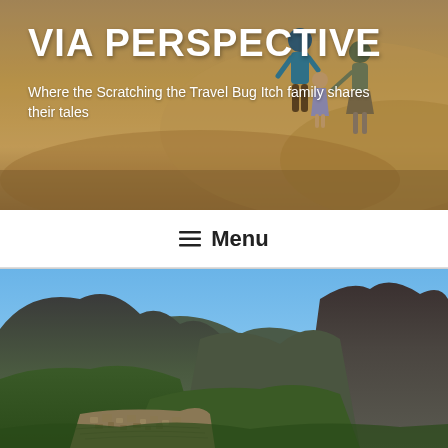VIA PERSPECTIVE
Where the Scratching the Travel Bug Itch family shares their tales
≡ Menu
[Figure (photo): Aerial/landscape view of Machu Picchu, Peru, showing mountain ruins with steep rocky peaks and lush green vegetation under a clear blue sky.]